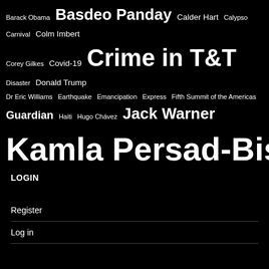[Figure (infographic): Tag cloud with topics/names in varying font sizes on black background. Larger text indicates higher frequency/importance. Tags include: Barack Obama, Basdeo Panday, Calder Hart, Calypso, Carnival, Colm Imbert, Corey Gilkes, Covid-19, Crime in T&T, Disaster, Donald Trump, Dr Eric Williams, Earthquake, Emancipation, Express, Fifth Summit of the Americas, Guardian, Haiti, Hugo Chávez, Jack Warner, Kamla Persad-Bissessar, Keith Rowley, Kwame Nantambu, Newsday, Patrick Manning, Politics, President, Property Tax, Racism, Raffique Shah, Sat Maharaj, Selwyn R. Cudjoe, State of Emergency, Stephen Kangal, T&T Govt, UDeCOTT, UNC, USA, War, Winston Dookeran]
LOGIN
Register
Log in